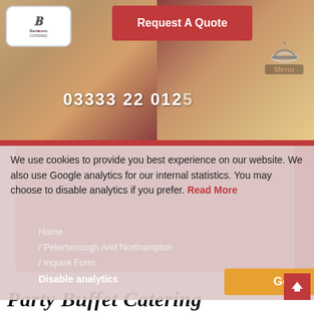[Figure (screenshot): Catering website hero section with food images (cheese platter, tomatoes, mozzarella on wooden boards), logo top-left, 'Request A Quote' red button top-center, phone number 03333 22 0125 overlaid, menu icon top-right]
Request A Quote
03333 22 0125
Inquire Form
We use cookies to provide you best experience on our website. We also use Google analytics for our internal statistics. You may choose to disable analytics if you prefer. Read More
Home / Peterborough And Northampton / Inquire Form
Disable analytics
Got It!
Party Buffet Catering